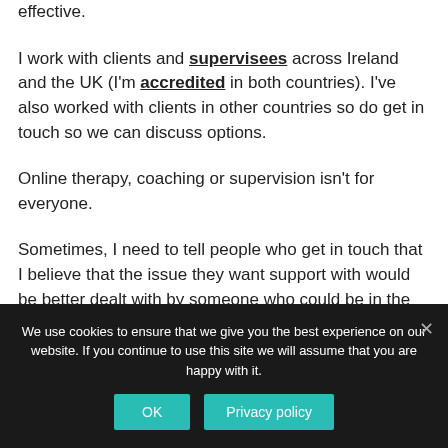effective.
I work with clients and supervisees across Ireland and the UK (I'm accredited in both countries). I've also worked with clients in other countries so do get in touch so we can discuss options.
Online therapy, coaching or supervision isn't for everyone.
Sometimes, I need to tell people who get in touch that I believe that the issue they want support with would be better dealt with by someone who could be in the same room.
We use cookies to ensure that we give you the best experience on our website. If you continue to use this site we will assume that you are happy with it.